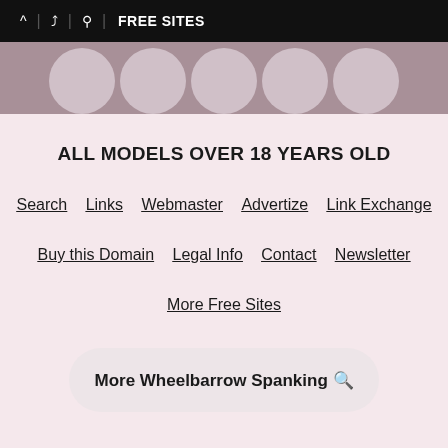^ | share | search | FREE SITES
[Figure (other): Thumbnail strip of circular profile images on gray background]
ALL MODELS OVER 18 YEARS OLD
Search   Links   Webmaster   Advertize   Link Exchange
Buy this Domain   Legal Info   Contact   Newsletter
More Free Sites
More Wheelbarrow Spanking 🔍